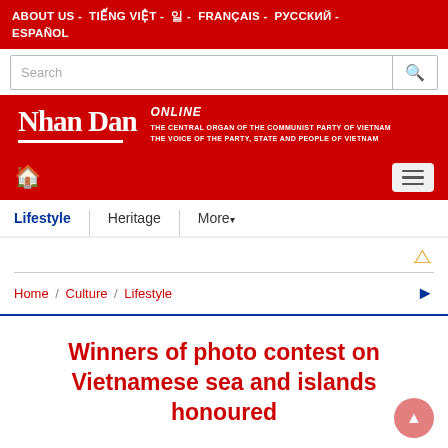ABOUT US - TIẾNG VIỆT - 日本語 - FRANÇAIS - РУССКИЙ - ESPAÑOL
[Figure (screenshot): Search bar with magnifying glass icon]
[Figure (logo): Nhan Dan ONLINE - THE CENTRAL ORGAN OF THE COMMUNIST PARTY OF VIETNAM - THE VOICE OF THE PARTY, STATE AND PEOPLE OF VIETNAM]
[Figure (screenshot): Navigation bar with home icon and hamburger menu on red background]
Lifestyle | Heritage | More▾
[Figure (screenshot): RSS feed icon]
Home / Culture / Lifestyle
Winners of photo contest on Vietnamese sea and islands honoured
Friday, 2021-11-26 16:12:41    A Font Size: – | + 🖶 Print